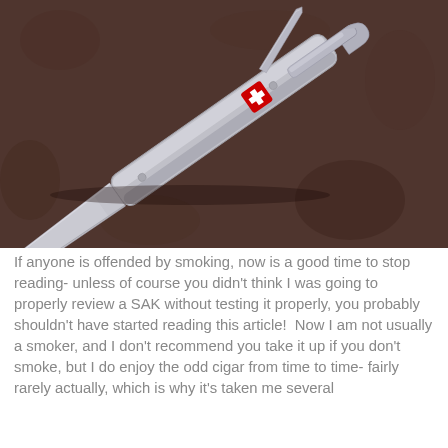[Figure (photo): A Swiss Army knife (Wenger/Victorinox style) with blade and bottle opener extended, lying on a dark brownish textured surface. The silver knife body has a red Swiss cross emblem. The main blade extends to the lower-left and a can/bottle opener tool extends to the right.]
If anyone is offended by smoking, now is a good time to stop reading- unless of course you didn't think I was going to properly review a SAK without testing it properly, you probably shouldn't have started reading this article!  Now I am not usually a smoker, and I don't recommend you take it up if you don't smoke, but I do enjoy the odd cigar from time to time- fairly rarely actually, which is why it's taken me several